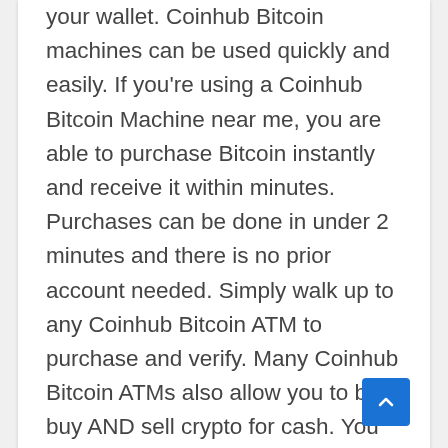your wallet. Coinhub Bitcoin machines can be used quickly and easily. If you're using a Coinhub Bitcoin Machine near me, you are able to purchase Bitcoin instantly and receive it within minutes. Purchases can be done in under 2 minutes and there is no prior account needed. Simply walk up to any Coinhub Bitcoin ATM to purchase and verify. Many Coinhub Bitcoin ATMs also allow you to both buy AND sell crypto for cash. You can buy Bitcoin using one our Bitcoin ATMs. First, locate the nearest Bitcoin ATM in your area by visiting our Coinhub Bitcoin ATM Locator. Walk up to the machine and enter your phone number. The machine will verify your phone using a code and scan the bitcoin wallet. Enter bills one bill at a time for the amount you would like to purchase and confirm the bitcoin atm prior to purchase. Bitcoin is then instantly sent to your wallet. The daily limit for buying Bitcoin is $25,000. There are Bitcoin Machines located